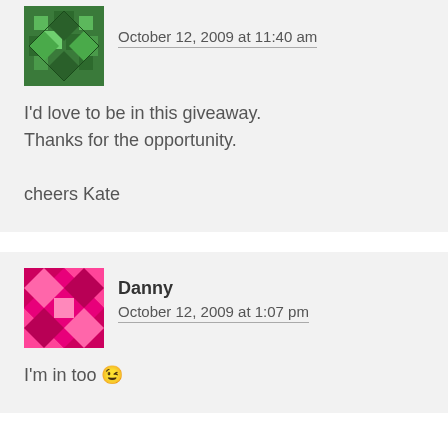October 12, 2009 at 11:40 am
I'd love to be in this giveaway.
Thanks for the opportunity.

cheers Kate
Danny
October 12, 2009 at 1:07 pm
I'm in too 😉